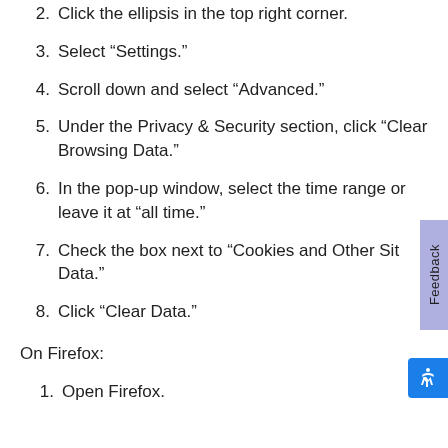2. Click the ellipsis in the top right corner.
3. Select “Settings.”
4. Scroll down and select “Advanced.”
5. Under the Privacy & Security section, click “Clear Browsing Data.”
6. In the pop-up window, select the time range or leave it at “all time.”
7. Check the box next to “Cookies and Other Site Data.”
8. Click “Clear Data.”
On Firefox:
1. Open Firefox.